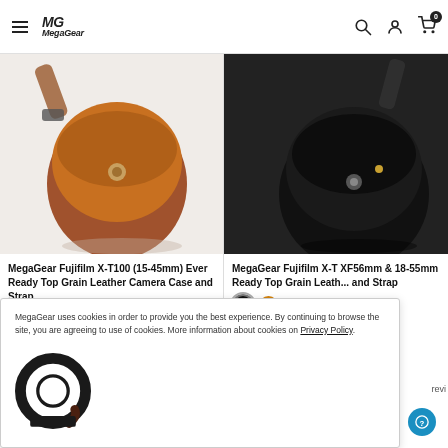MegaGear
[Figure (photo): Brown leather camera case product photo]
MegaGear Fujifilm X-T100 (15-45mm) Ever Ready Top Grain Leather Camera Case and Strap
$50.00
[Figure (photo): Black leather camera case product photo (partially visible)]
MegaGear Fujifilm X-T XF56mm & 18-55mm Ready Top Grain Leather ... and Strap
MegaGear uses cookies in order to provide you the best experience. By continuing to browse the site, you are agreeing to use of cookies. More information about cookies on Privacy Policy.